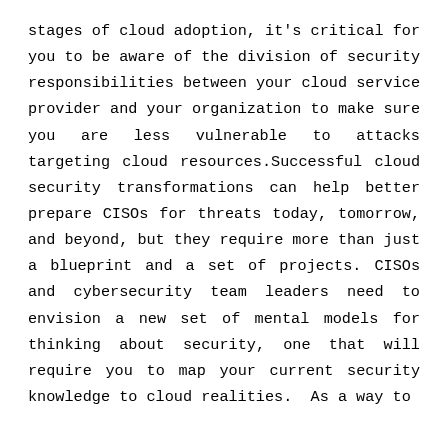stages of cloud adoption, it's critical for you to be aware of the division of security responsibilities between your cloud service provider and your organization to make sure you are less vulnerable to attacks targeting cloud resources.Successful cloud security transformations can help better prepare CISOs for threats today, tomorrow, and beyond, but they require more than just a blueprint and a set of projects. CISOs and cybersecurity team leaders need to envision a new set of mental models for thinking about security, one that will require you to map your current security knowledge to cloud realities.  As a way to